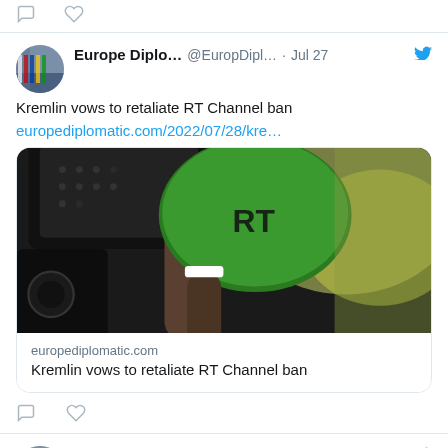[Figure (screenshot): Partial tweet actions row at top of page — comment and heart icons]
[Figure (screenshot): Tweet by Europe Diplo... (@EuropDipl...) dated Jul 27 with Twitter bird logo. Text: 'Kremlin vows to retaliate RT Channel ban' and link europediplomatic.com/2022/07/28/kre... with embedded link card showing photo of RT microphone (green) and camera equipment, domain europediplomatic.com, title 'Kremlin vows to retaliate RT Channel ban']
Kremlin vows to retaliate RT Channel ban
europediplomatic.com/2022/07/28/kre...
europediplomatic.com
Kremlin vows to retaliate RT Channel ban
[Figure (screenshot): Partial second tweet by Europe Diplo... (@EuropDipl...) dated Jul 27 with Twitter bird logo. Text: 'EU renews Russia sanctions' and partial link europediplomatic.com/2022/07/27/eu-]